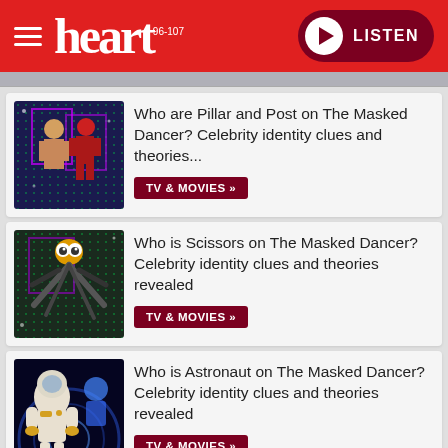heart 96-107 LISTEN
[Figure (photo): Masked Dancer costumes Pillar and Post on a neon stage background]
Who are Pillar and Post on The Masked Dancer? Celebrity identity clues and theories...
TV & MOVIES »
[Figure (photo): Scissors costume character on The Masked Dancer stage]
Who is Scissors on The Masked Dancer? Celebrity identity clues and theories revealed
TV & MOVIES »
[Figure (photo): Astronaut costume character on The Masked Dancer stage]
Who is Astronaut on The Masked Dancer? Celebrity identity clues and theories revealed
TV & MOVIES »